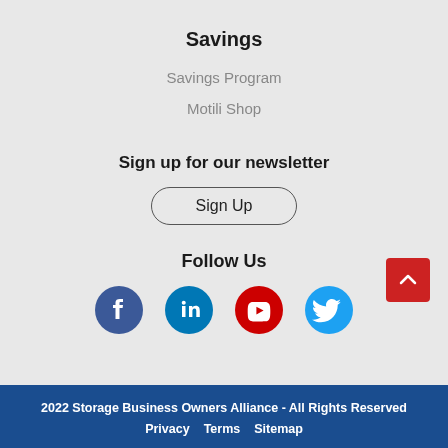Savings
Savings Program
Motili Shop
Sign up for our newsletter
Sign Up
Follow Us
[Figure (infographic): Social media icons: Facebook (dark blue circle), LinkedIn (medium blue circle), YouTube (red circle), Twitter (light blue circle)]
[Figure (other): Red back-to-top button with upward chevron arrow]
2022 Storage Business Owners Alliance - All Rights Reserved Privacy  Terms  Sitemap